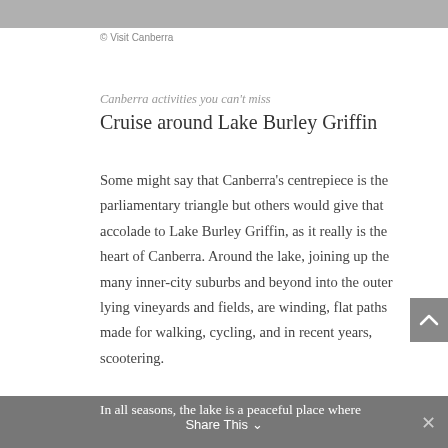[Figure (photo): Top strip showing a partial photo of a lake or outdoor scene in Canberra]
© Visit Canberra
Canberra activities you can't miss
Cruise around Lake Burley Griffin
Some might say that Canberra's centrepiece is the parliamentary triangle but others would give that accolade to Lake Burley Griffin, as it really is the heart of Canberra. Around the lake, joining up the many inner-city suburbs and beyond into the outer lying vineyards and fields, are winding, flat paths made for walking, cycling, and in recent years, scootering.
In all seasons, the lake is a peaceful place where